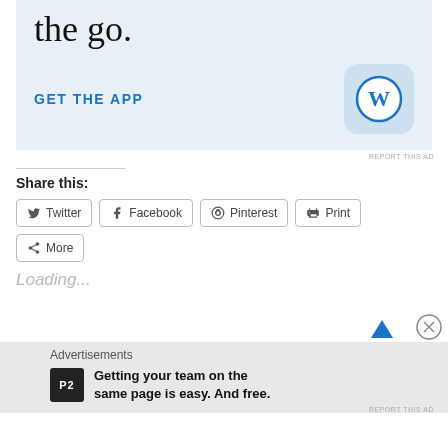[Figure (screenshot): WordPress app advertisement banner with 'the go.' text, GET THE APP button, and WordPress logo icon on light blue background]
REPORT THIS AD
Share this:
Twitter
Facebook
Pinterest
Print
More
Loading...
Advertisements
[Figure (infographic): P2 advertisement: Getting your team on the same page is easy. And free.]